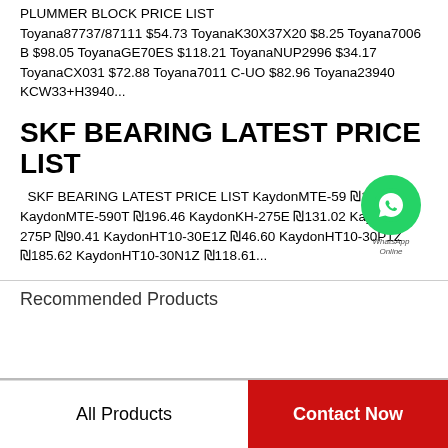PLUMMER BLOCK PRICE LIST Toyana87737/87111 $54.73 ToyanaK30X37X20 $8.25 Toyana7006 B $98.05 ToyanaGE70ES $118.21 ToyanaNUP2996 $34.17 ToyanaCX031 $72.88 Toyana7011 C-UO $82.96 Toyana23940 KCW33+H3940...
SKF BEARING LATEST PRICE LIST
SKF BEARING LATEST PRICE LIST KaydonMTE-59 ₪112.47 KaydonMTE-590T ₪196.46 KaydonKH-275E ₪131.02 KaydonKH-275P ₪90.41 KaydonHT10-30E1Z ₪46.60 KaydonHT10-30P1Z ₪185.62 KaydonHT10-30N1Z ₪118.61...
Recommended Products
All Products
Contact Now